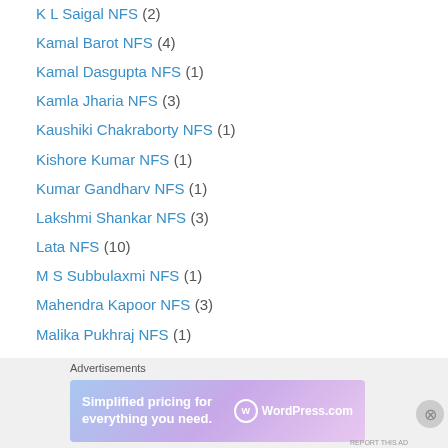K L Saigal NFS (2)
Kamal Barot NFS (4)
Kamal Dasgupta NFS (1)
Kamla Jharia NFS (3)
Kaushiki Chakraborty NFS (1)
Kishore Kumar NFS (1)
Kumar Gandharv NFS (1)
Lakshmi Shankar NFS (3)
Lata NFS (10)
M S Subbulaxmi NFS (1)
Mahendra Kapoor NFS (3)
Malika Pukhraj NFS (1)
Manna Dey NFS (7)
Master Madan NFS (2)
Master Vasant Amrit NFS (1)
Meena Kumari NFS (3)
Meera Burman NFS (1)
Advertisements
[Figure (screenshot): WordPress.com advertisement banner: 'Simplified pricing for everything you need.' with WordPress.com logo on gradient background]